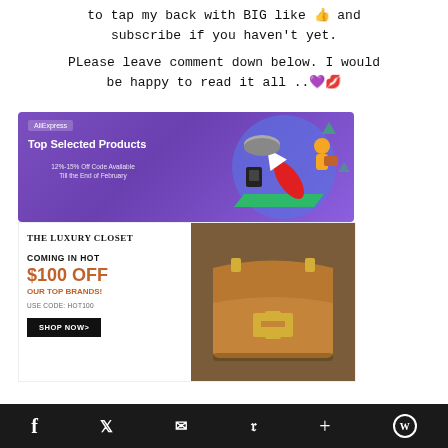to tap my back with BIG like 👍 and subscribe if you haven't yet.
PLease leave comment down below. I would be happy to read it all ..💜💋
[Figure (illustration): AliExpress ad banner: purple background with 'Top Selected Products', '12%-15% Off Code Available Till the End of February', with cartoon rocket/delivery person illustration]
[Figure (illustration): The Luxury Closet ad: white left panel with brand name, 'COMING IN HOT $100 OFF OUR TOP BRANDS! USE CODE: HOT100' with SHOP NOW button; right side shows photo of brown Hermès Constance bag]
Social share bar with Facebook, Twitter, Email, Pinterest, Plus, WordPress icons